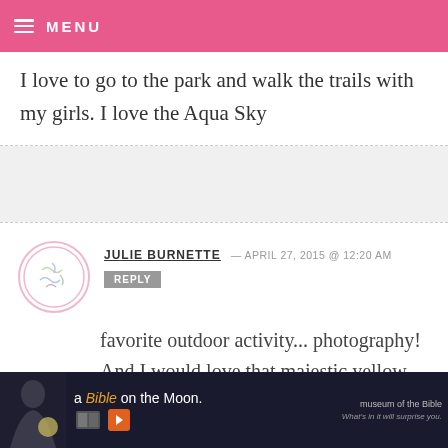MENU
I love to go to the park and walk the trails with my girls. I love the Aqua Sky
JULIE BURNETTE — APRIL 27, 2015 @ 12:20 AM
REPLY
favorite outdoor activity... photography! And I would love that majestic yellow mixer!
[Figure (screenshot): Ad banner for 'a Bible on the Moon' Museum of the Bible advertisement with dark background, photo of a person, play button icon, and tagline 'What's in it will surprise you.']